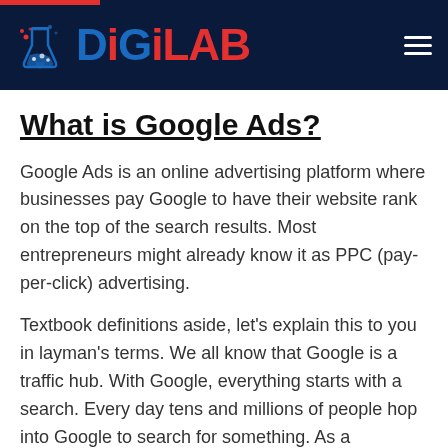DiGiLAB
What is Google Ads?
Google Ads is an online advertising platform where businesses pay Google to have their website rank on the top of the search results. Most entrepreneurs might already know it as PPC (pay-per-click) advertising.
Textbook definitions aside, let’s explain this to you in layman’s terms. We all know that Google is a traffic hub. With Google, everything starts with a search. Every day tens and millions of people hop into Google to search for something. As a webmaster, you have